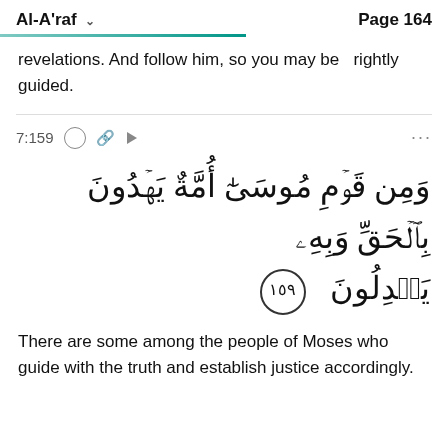Al-A'raf   Page 164
revelations. And follow him, so you may be rightly guided.
7:159
[Figure (other): Arabic Quran verse 7:159: وَمِن قَوۡمِ مُوسَىٰٓ أُمَّةٌ يَهۡدُونَ بِٱلۡحَقِّ وَبِهِۦ يَعۡدِلُونَ with verse number 159 in decorative circle]
There are some among the people of Moses who guide with the truth and establish justice accordingly.